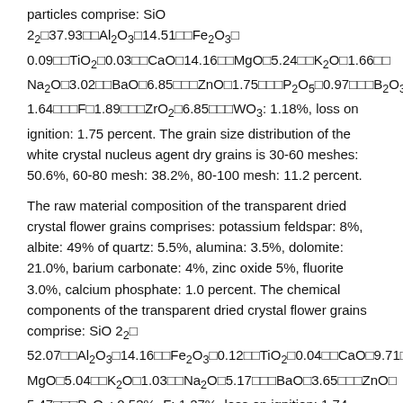particles comprise: SiO 2â37.93ààAl₂O₃á14.51ààFe₂O₃á 0.09ààTiO₂á0.03ààCaOá14.16ààMgOá5.24ààK₂Oá1.66àà Na₂Oá3.02ààBaOá6.85àààZnOá1.75àààP₂O₅á0.97àààB₂O₃á 1.64àààFá1.89àààZrO₂á6.85àààWO₃: 1.18%, loss on ignition: 1.75 percent. The grain size distribution of the white crystal nucleus agent dry grains is 30-60 meshes: 50.6%, 60-80 mesh: 38.2%, 80-100 mesh: 11.2 percent.
The raw material composition of the transparent dried crystal flower grains comprises: potassium feldspar: 8%, albite: 49% of quartz: 5.5%, alumina: 3.5%, dolomite: 21.0%, barium carbonate: 4%, zinc oxide 5%, fluorite 3.0%, calcium phosphate: 1.0 percent. The chemical components of the transparent dried crystal flower grains comprise: SiO 2âá 52.07ààAl₂O₃á14.16ààFe₂O₃á0.12ààTiO₂á0.04ààCaOá9.71àà MgOá5.04ààK₂Oá1.03ààNa₂Oá5.17àààBaOá3.65àààZnOá 5.47àààP₂O₅: 0.53%, F: 1.27%, loss on ignition: 1.74 percent. The particle size (or particle grading) of the transparent crystal flower dry particles is 30-60 meshes: 26.4%, 60-80 mesh: 58.7 percent, 80-100 meshes: 13.9 percent.